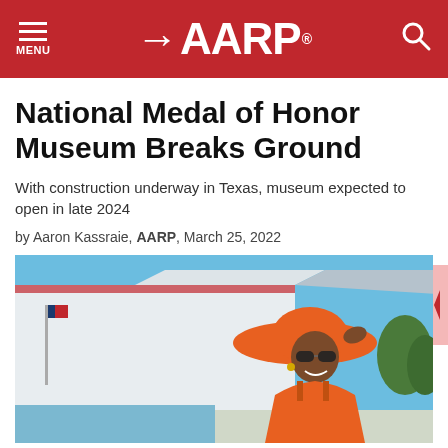MENU | AARP | (search)
National Medal of Honor Museum Breaks Ground
With construction underway in Texas, museum expected to open in late 2024
by Aaron Kassraie, AARP, March 25, 2022
[Figure (photo): A woman wearing an orange hat and sunglasses smiling, with the exterior of a building (museum rendering) in the background. Blue sky visible.]